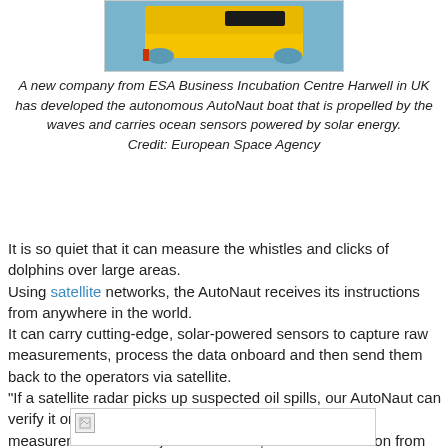[Figure (photo): Yellow autonomous AutoNaut boat on water, partially submerged, viewed from above/side]
A new company from ESA Business Incubation Centre Harwell in UK has developed the autonomous AutoNaut boat that is propelled by the waves and carries ocean sensors powered by solar energy.
Credit: European Space Agency
It is so quiet that it can measure the whistles and clicks of dolphins over large areas.
Using satellite networks, the AutoNaut receives its instructions from anywhere in the world.
It can carry cutting-edge, solar-powered sensors to capture raw measurements, process the data onboard and then send them back to the operators via satellite.
"If a satellite radar picks up suspected oil spills, our AutoNaut can verify it on the spot, map the extent and take water measurements for relay back to shore," said Phil Johnson from the company.
[Figure (photo): Second image, partially visible at bottom of page, appears to be another photo with broken image icon]